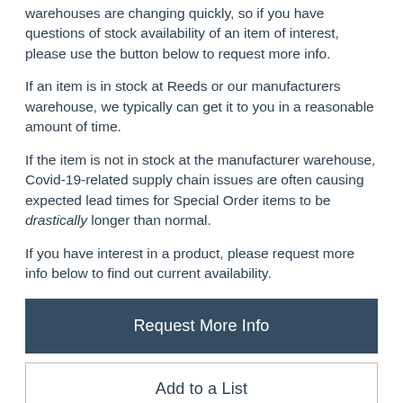warehouses are changing quickly, so if you have questions of stock availability of an item of interest, please use the button below to request more info.
If an item is in stock at Reeds or our manufacturers warehouse, we typically can get it to you in a reasonable amount of time.
If the item is not in stock at the manufacturer warehouse, Covid-19-related supply chain issues are often causing expected lead times for Special Order items to be drastically longer than normal.
If you have interest in a product, please request more info below to find out current availability.
Request More Info
Add to a List